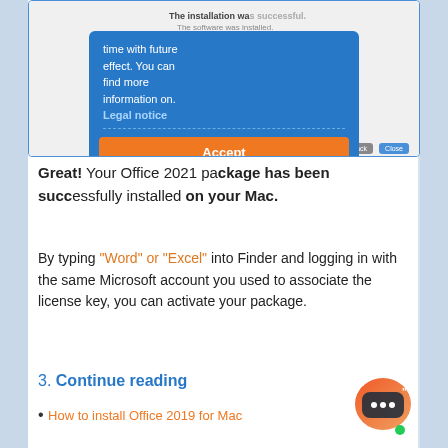[Figure (screenshot): Screenshot of an installer showing 'The installation was successful.' with a cookie consent overlay. The overlay has a blue background with text about legal notice, an orange 'Accept Cookies' button, and a white 'Customise Cookies' button.]
Great! Your Office 2021 package has been successfully installed on your Mac.
By typing "Word" or "Excel" into Finder and logging in with the same Microsoft account you used to associate the license key, you can activate your package.
3. Continue reading
How to install Office 2019 for Mac